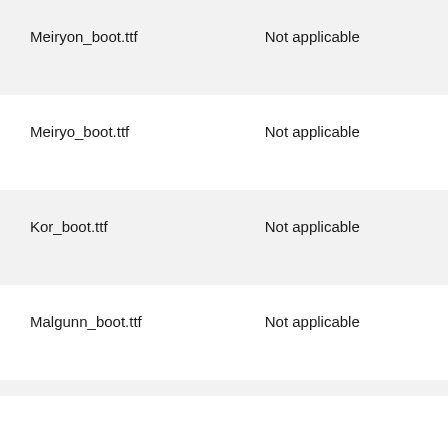| Meiryon_boot.ttf | Not applicable |
| Meiryo_boot.ttf | Not applicable |
| Kor_boot.ttf | Not applicable |
| Malgunn_boot.ttf | Not applicable |